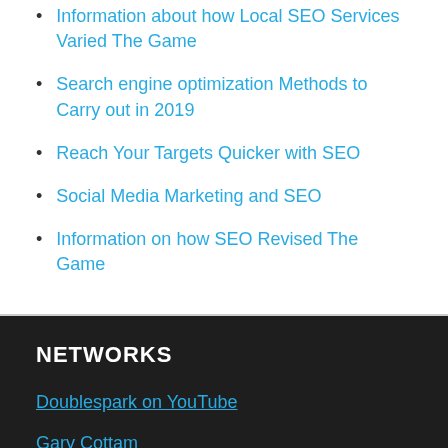Information about how Local SEO Services Varied The Game
Search engine optimization Methods to Carry out in 2019
Reach Your Targets Quicker with SEO
Social Media Marketing and SEO
Information on how SEO Revised The Game
NETWORKS
Doublespark on YouTube
Gary Cottam